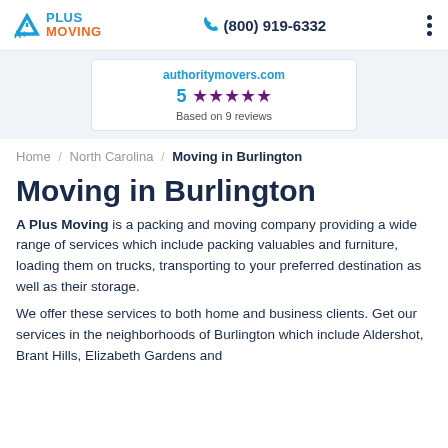A Plus Moving | (800) 919-6332
[Figure (other): Rating card showing authoritymovers.com, 5 stars, Based on 9 reviews]
Home / North Carolina / Moving in Burlington
Moving in Burlington
A Plus Moving is a packing and moving company providing a wide range of services which include packing valuables and furniture, loading them on trucks, transporting to your preferred destination as well as their storage.
We offer these services to both home and business clients. Get our services in the neighborhoods of Burlington which include Aldershot, Brant Hills, Elizabeth Gardens and